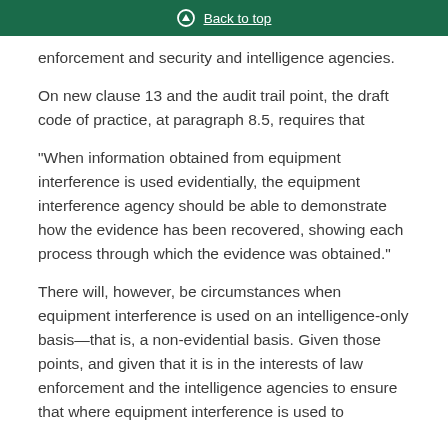Back to top
enforcement and security and intelligence agencies.
On new clause 13 and the audit trail point, the draft code of practice, at paragraph 8.5, requires that
“When information obtained from equipment interference is used evidentially, the equipment interference agency should be able to demonstrate how the evidence has been recovered, showing each process through which the evidence was obtained.”
There will, however, be circumstances when equipment interference is used on an intelligence-only basis—that is, a non-evidential basis. Given those points, and given that it is in the interests of law enforcement and the intelligence agencies to ensure that where equipment interference is used to